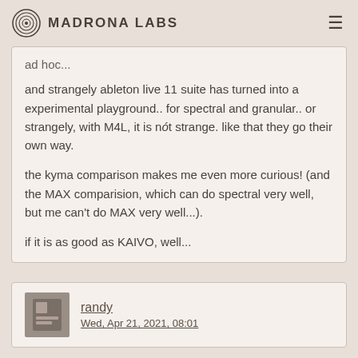Madrona Labs
ad hoc...
and strangely ableton live 11 suite has turned into a experimental playground.. for spectral and granular.. or strangely, with M4L, it is nót strange. like that they go their own way.
the kyma comparison makes me even more curious! (and the MAX comparision, which can do spectral very well, but me can't do MAX very well...).
if it is as good as KAIVO, well...
randy
Wed, Apr 21, 2021, 08:01